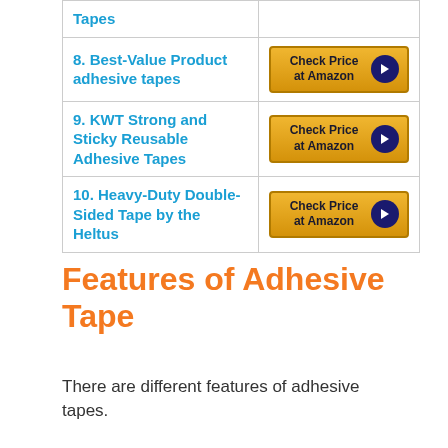| Product | Link |
| --- | --- |
| Tapes |  |
| 8. Best-Value Product adhesive tapes | Check Price at Amazon |
| 9. KWT Strong and Sticky Reusable Adhesive Tapes | Check Price at Amazon |
| 10. Heavy-Duty Double-Sided Tape by the Heltus | Check Price at Amazon |
Features of Adhesive Tape
There are different features of adhesive tapes.